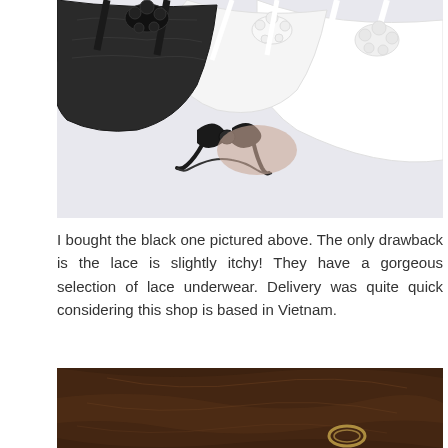[Figure (photo): Product photo of two lace bralettes laid flat on a white surface — one black with floral lace trim and a black lace bow, one white/grey with embroidered floral appliqué straps.]
I bought the black one pictured above. The only drawback is the lace is slightly itchy! They have a gorgeous selection of lace underwear. Delivery was quite quick considering this shop is based in Vietnam.
[Figure (photo): Photo of a dark brown/chocolate textured surface with a partial view of a small round metallic/gold ring object in the lower portion.]